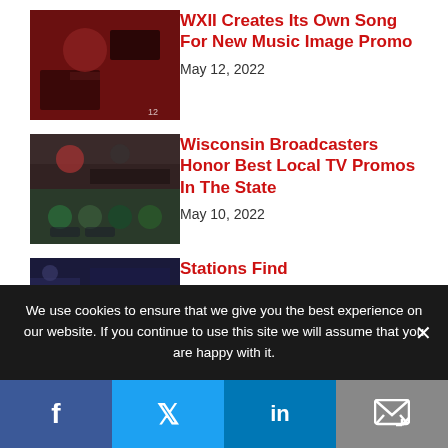[Figure (photo): Person in red jacket in a recording studio]
WXII Creates Its Own Song For New Music Image Promo
May 12, 2022
[Figure (photo): Two photos: people at an event and group holding awards]
Wisconsin Broadcasters Honor Best Local TV Promos In The State
May 10, 2022
[Figure (photo): Partial image of a TV studio or newsroom]
Stations Find
We use cookies to ensure that we give you the best experience on our website. If you continue to use this site we will assume that you are happy with it.